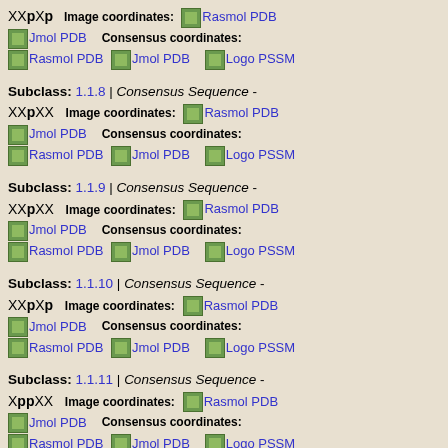XXpXp  Image coordinates: [Rasmol PDB] [Jmol PDB]  Consensus coordinates: [Rasmol PDB] [Jmol PDB] [Logo PSSM]
Subclass: 1.1.8 | Consensus Sequence - XXpXX  Image coordinates: [Rasmol PDB] [Jmol PDB]  Consensus coordinates: [Rasmol PDB] [Jmol PDB] [Logo PSSM]
Subclass: 1.1.9 | Consensus Sequence - XXpXX  Image coordinates: [Rasmol PDB] [Jmol PDB]  Consensus coordinates: [Rasmol PDB] [Jmol PDB] [Logo PSSM]
Subclass: 1.1.10 | Consensus Sequence - XXpXp  Image coordinates: [Rasmol PDB] [Jmol PDB]  Consensus coordinates: [Rasmol PDB] [Jmol PDB] [Logo PSSM]
Subclass: 1.1.11 | Consensus Sequence - XppXX  Image coordinates: [Rasmol PDB] [Jmol PDB]  Consensus coordinates: [Rasmol PDB] [Jmol PDB] [Logo PSSM]
Subclass: 1.1.12 | Consensus Sequence -